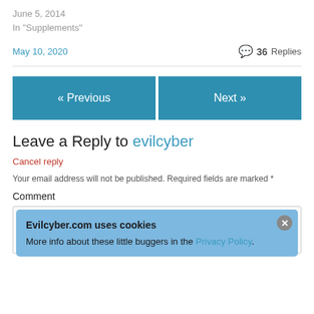June 5, 2014
In "Supplements"
May 10, 2020
36 Replies
« Previous
Next »
Leave a Reply to evilcyber
Cancel reply
Your email address will not be published. Required fields are marked *
Comment
Evilcyber.com uses cookies
More info about these little buggers in the Privacy Policy.